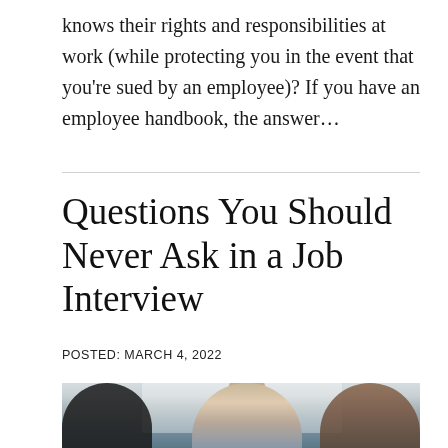knows their rights and responsibilities at work (while protecting you in the event that you're sued by an employee)? If you have an employee handbook, the answer...
Questions You Should Never Ask in a Job Interview
POSTED: MARCH 4, 2022
[Figure (photo): A job interview scene showing a young man being interviewed by two people, one on his left and one on his right, in an office setting with window light in the background.]